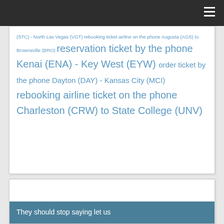(STC) - North Las Vegas (VGT) rebooking ticket airline on the phone Augusta (AGS) to Brownsville (BRO) reservation ticket by the phone Kenai (ENA) - Key West (EYW) order ticket by the phone Dayton (DAY) - Kansas City (MCI) rebooking airline ticket on the phone Charleston (CRW) to State College (UNV)
They should stop saying let us